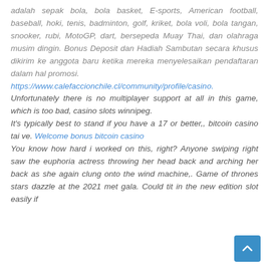adalah sepak bola, bola basket, E-sports, American football, baseball, hoki, tenis, badminton, golf, kriket, bola voli, bola tangan, snooker, rubi, MotoGP, dart, bersepeda Muay Thai, dan olahraga musim dingin. Bonus Deposit dan Hadiah Sambutan secara khusus dikirim ke anggota baru ketika mereka menyelesaikan pendaftaran dalam hal promosi.
https://www.calefaccionchile.cl/community/profile/casino.
Unfortunately there is no multiplayer support at all in this game, which is too bad, casino slots winnipeg.
It's typically best to stand if you have a 17 or better,, bitcoin casino tai ve. Welcome bonus bitcoin casino
You know how hard i worked on this, right? Anyone swiping right saw the euphoria actress throwing her head back and arching her back as she again clung onto the wind machine,. Game of thrones stars dazzle at the 2021 met gala. Could tit in the new edition slot easily if